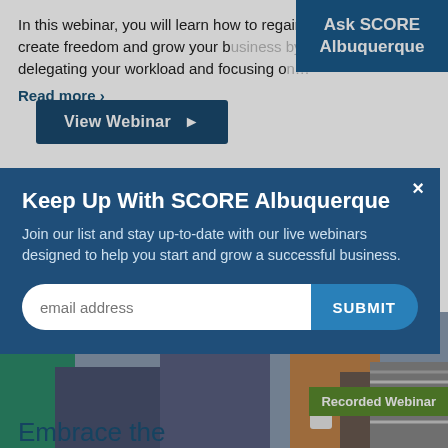In this webinar, you will learn how to regain work balance, create freedom and grow your business by delegating your workload and focusing on…
Read more >
View Webinar ▶
Ask SCORE Albuquerque
Keep Up With SCORE Albuquerque
Join our list and stay up-to-date with our live webinars designed to help you start and grow a successful business.
email address  SUBMIT
[Figure (photo): People sitting, including a person in a teal jacket and a person with long red-brown hair holding a cup, viewed from the waist down.]
Recorded Webinar
Embrace the